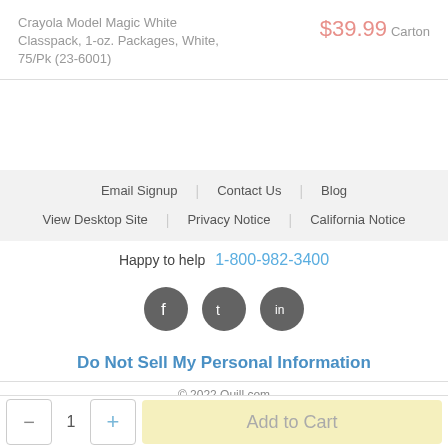Crayola Model Magic White Classpack, 1-oz. Packages, White, 75/Pk (23-6001)
$39.99 Carton
Email Signup | Contact Us | Blog
View Desktop Site | Privacy Notice | California Notice
Happy to help  1-800-982-3400
[Figure (illustration): Social media icons: Facebook, Twitter, LinkedIn in dark grey circles]
Do Not Sell My Personal Information
© 2022 Quill.com
— 1 + Add to Cart